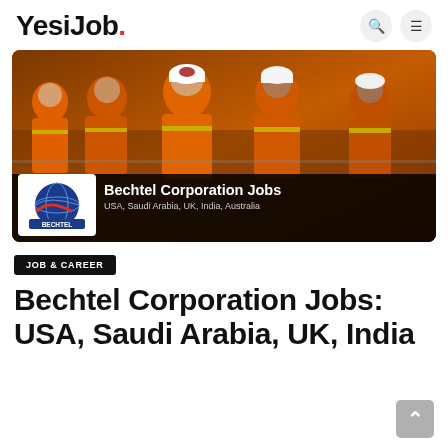YesiJob.
[Figure (photo): Group of workers in orange high-visibility jackets and hard hats at a construction site. A banner overlay reads 'Bechtel Corporation Jobs' with subtitle 'USA, Saudi Arabia, UK, India, Australia' and the Bechtel logo.]
JOB & CAREER
Bechtel Corporation Jobs: USA, Saudi Arabia, UK, India